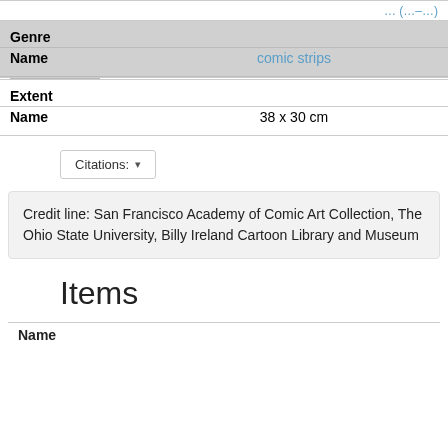| Genre |  |
| --- | --- |
| Name | comic strips |
| Extent |  |
| --- | --- |
| Name | 38 x 30 cm |
Citations: ▾
Credit line: San Francisco Academy of Comic Art Collection, The Ohio State University, Billy Ireland Cartoon Library and Museum
Items
Name